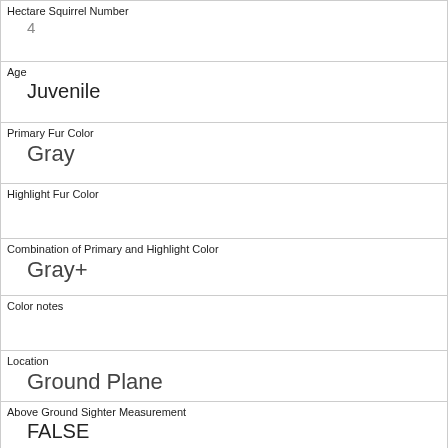| Field | Value |
| --- | --- |
| Hectare Squirrel Number | 4 |
| Age | Juvenile |
| Primary Fur Color | Gray |
| Highlight Fur Color |  |
| Combination of Primary and Highlight Color | Gray+ |
| Color notes |  |
| Location | Ground Plane |
| Above Ground Sighter Measurement | FALSE |
| Specific Location | Rock a |
| Running | 0 |
| Chasing |  |